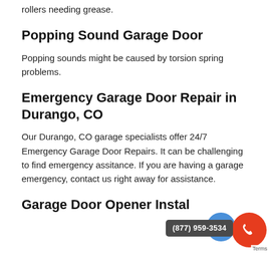Vibrating sounds are often caused by loose parts or rollers needing grease.
Popping Sound Garage Door
Popping sounds might be caused by torsion spring problems.
Emergency Garage Door Repair in Durango, CO
Our Durango, CO garage specialists offer 24/7 Emergency Garage Door Repairs. It can be challenging to find emergency assitance. If you are having a garage emergency, contact us right away for assistance.
Garage Door Opener Installation
[Figure (infographic): Phone call badge showing (877) 959-3534 with blue and red circle icons for contact]